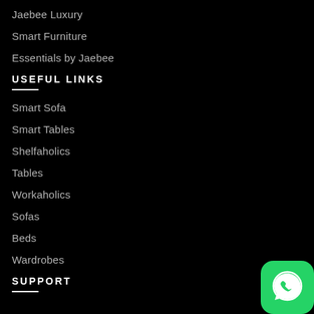Jaebee Luxury
Smart Furniture
Essentials by Jaebee
USEFUL LINKS
Smart Sofa
Smart Tables
Shelfaholics
Tables
Workaholics
Sofas
Beds
Wardrobes
SUPPORT
[Figure (logo): WhatsApp green icon with chat bubble and phone symbol]